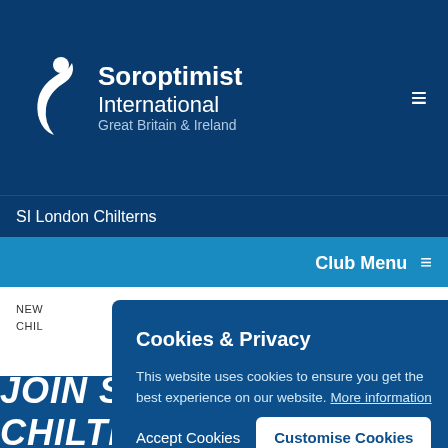[Figure (logo): Soroptimist International Great Britain & Ireland logo with white stylized figure and text]
SI London Chilterns
Club Menu
NEWS | SI LONDON CHILTERNS
Cookies & Privacy
This website uses cookies to ensure you get the best experience on our website. More information
Accept Cookies
Customise Cookies
JOIN SI LONDON CHILTERNS